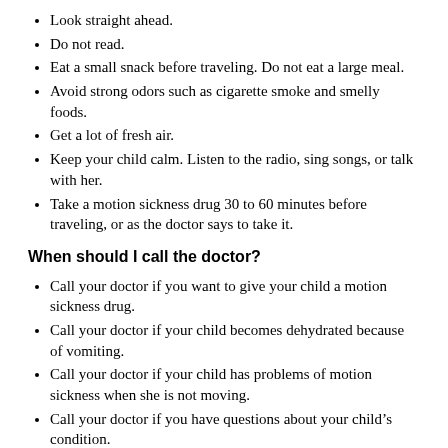Look straight ahead.
Do not read.
Eat a small snack before traveling. Do not eat a large meal.
Avoid strong odors such as cigarette smoke and smelly foods.
Get a lot of fresh air.
Keep your child calm. Listen to the radio, sing songs, or talk with her.
Take a motion sickness drug 30 to 60 minutes before traveling, or as the doctor says to take it.
When should I call the doctor?
Call your doctor if you want to give your child a motion sickness drug.
Call your doctor if your child becomes dehydrated because of vomiting.
Call your doctor if your child has problems of motion sickness when she is not moving.
Call your doctor if you have questions about your child’s condition.
Quick Answers
Motion sickness is the uneasy feeling you can get when riding in something moving (a car, boat, or plane).